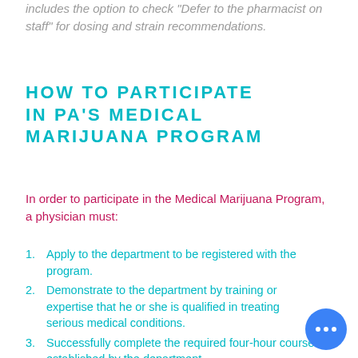includes the option to check "Defer to the pharmacist on staff" for dosing and strain recommendations.
HOW TO PARTICIPATE IN PA'S MEDICAL MARIJUANA PROGRAM
In order to participate in the Medical Marijuana Program, a physician must:
Apply to the department to be registered with the program.
Demonstrate to the department by training or expertise that he or she is qualified in treating serious medical conditions.
Successfully complete the required four-hour course established by the department.
Hold a valid, unexpired, unrevoked, unsuspended Pennsylvania license to practice medicine.